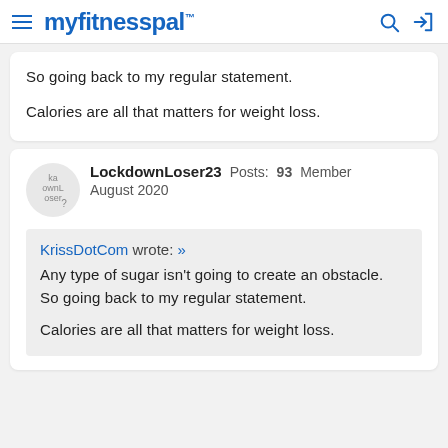myfitnesspal
So going back to my regular statement.

Calories are all that matters for weight loss.
LockdownLoser23  Posts: 93  Member
August 2020
KrissDotCom wrote: »
Any type of sugar isn't going to create an obstacle.
So going back to my regular statement.

Calories are all that matters for weight loss.